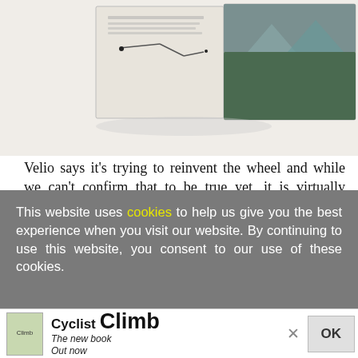[Figure (photo): Partial view of an open book/atlas showing a map page on the left and a landscape/mountain photograph on the right, photographed from above at an angle.]
Velio says it's trying to reinvent the wheel and while we can't confirm that to be true yet, it is virtually guaranteed to be a wheely good time.
For more information and to book tickets now visit velio.cc
This website uses cookies to help us give you the best experience when you visit our website. By continuing to use this website, you consent to our use of these cookies.
[Figure (advertisement): Ad banner for 'Cyclist Climb' book — shows book cover thumbnail, text 'Cyclist Climb The new book Out now', close X button, and OK button.]